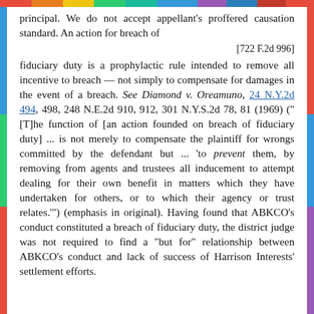principal. We do not accept appellant's proffered causation standard. An action for breach of
[722 F.2d 996]
fiduciary duty is a prophylactic rule intended to remove all incentive to breach — not simply to compensate for damages in the event of a breach. See Diamond v. Oreamuno, 24 N.Y.2d 494, 498, 248 N.E.2d 910, 912, 301 N.Y.S.2d 78, 81 (1969) ("[T]he function of [an action founded on breach of fiduciary duty] ... is not merely to compensate the plaintiff for wrongs committed by the defendant but ... 'to prevent them, by removing from agents and trustees all inducement to attempt dealing for their own benefit in matters which they have undertaken for others, or to which their agency or trust relates.'") (emphasis in original). Having found that ABKCO's conduct constituted a breach of fiduciary duty, the district judge was not required to find a "but for" relationship between ABKCO's conduct and lack of success of Harrison Interests' settlement efforts.